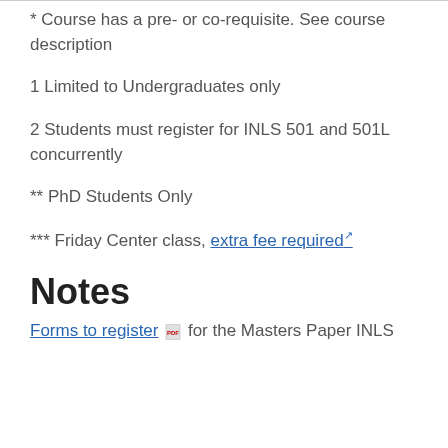* Course has a pre- or co-requisite. See course description
1 Limited to Undergraduates only
2 Students must register for INLS 501 and 501L concurrently
** PhD Students Only
*** Friday Center class, extra fee required
Notes
Forms to register for the Masters Paper INLS